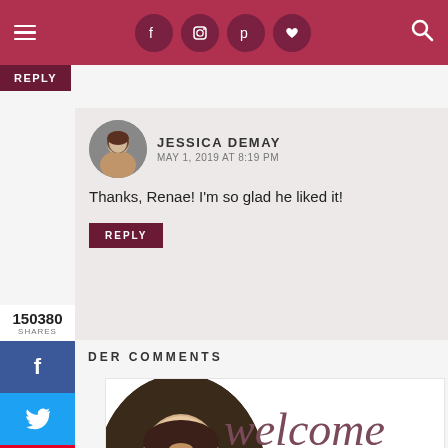Navigation header with hamburger menu, social icons (Facebook, Instagram, Pinterest, heart), and search
REPLY
[Figure (photo): Avatar photo of Jessica DeMay]
JESSICA DEMAY
MAY 1, 2019 AT 8:19 PM
Thanks, Renae! I'm so glad he liked it!
150380
SHARES
REPLY
DER COMMENTS
[Figure (photo): Profile photo of blog author in circular frame]
welcome
if I'm not baking then I'm probably checking out a local farmers market or cute coffee shop. I also